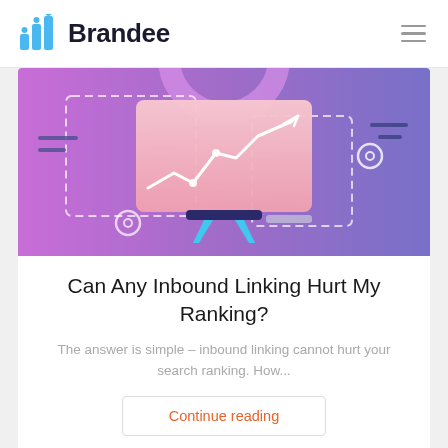Brandee
[Figure (illustration): A colorful digital marketing illustration showing a presentation screen with a line graph trending upward, on a purple-pink gradient background with dashed rectangle overlays and geometric decorative elements.]
Can Any Inbound Linking Hurt My Ranking?
The answer is simple – inbound linking cannot hurt your search ranking. How...
Continue reading